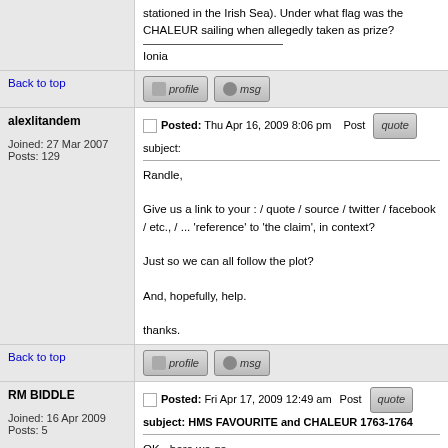stationed in the Irish Sea). Under what flag was the CHALEUR sailing when allegedly taken as prize?
Ionia
Back to top
alexlitandem
Posted: Thu Apr 16, 2009 8:06 pm    Post subject:
Joined: 27 Mar 2007
Posts: 129
Randle,

Give us a link to your : / quote / source / twitter / facebook / etc., / ... 'reference' to 'the claim', in context?

Just so we can all follow the plot?

And, hopefully, help.

thanks.
Back to top
RM BIDDLE
Posted: Fri Apr 17, 2009 12:49 am    Post subject: HMS FAVOURITE and CHALEUR 1763-1764
Joined: 16 Apr 2009
Posts: 5
OK - here we go...

The History of American Sailing Ships; Chapelle, Howard Irving; Norton 1935, p 40. This passage has